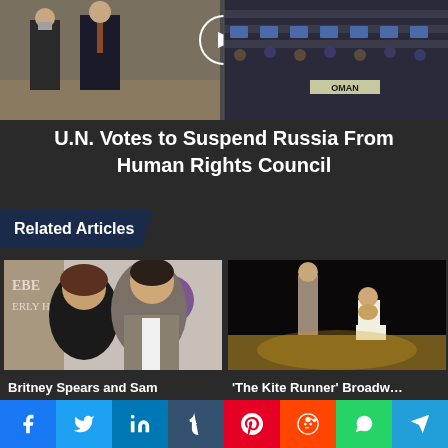[Figure (photo): UN Human Rights Council chamber photo with delegates and OMAN nameplate visible, two men in suits on left side]
U.N. Votes to Suspend Russia From Human Rights Council
Related Articles
[Figure (photo): Britney Spears and Sam Asghari posing together at an event]
Britney Spears and Sam Asghari's Relationship Timeline
[Figure (photo): Two actors on stage in The Kite Runner Broadway production, one standing one kneeling]
'The Kite Runner' Broadway review: A gripping stage